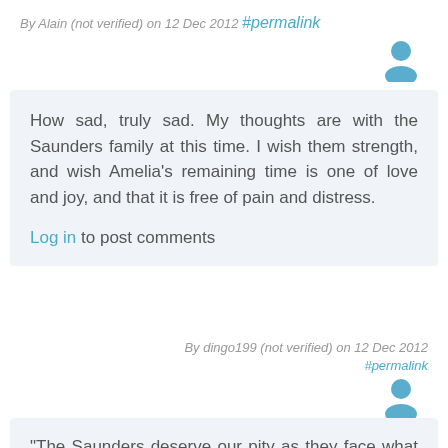By Alain (not verified) on 12 Dec 2012 #permalink
How sad, truly sad. My thoughts are with the Saunders family at this time. I wish them strength, and wish Amelia's remaining time is one of love and joy, and that it is free of pain and distress.
Log in to post comments
By dingo199 (not verified) on 12 Dec 2012 #permalink
"The Saunders deserve our pity as they face what is one of the most horrible experiences any human can be forced to deal with: The impending death of their child!!